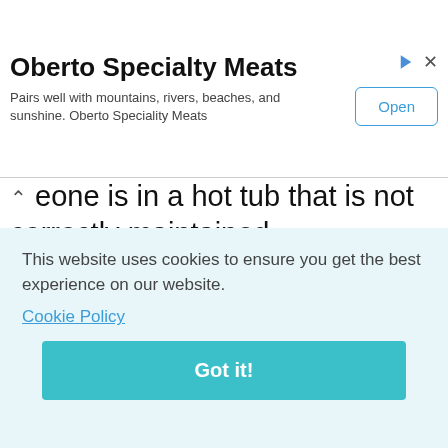[Figure (screenshot): Advertisement banner for Oberto Specialty Meats with title, subtitle text, an Open button, and ad icons (play/close).]
eone is in a hot tub that is not correctly maintained. “Fortunately, none of the others in our family had spent any significant time in the hot tub, so I was the only one affected. The doctor explained that the infection would subside within two weeks on its own but I was
o in
nore
vere
n
m
e
s
[Figure (screenshot): Cookie consent popup with text 'This website uses cookies to ensure you get the best experience on our website.' and a Cookie Policy link and Got it! button.]